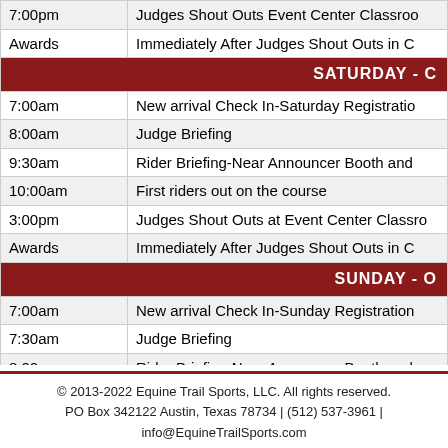| Time | Event |
| --- | --- |
| 7:00pm | Judges Shout Outs Event Center Classroom |
| Awards | Immediately After Judges Shout Outs in C |
| SATURDAY - C |  |
| 7:00am | New arrival Check In-Saturday Registration |
| 8:00am | Judge Briefing |
| 9:30am | Rider Briefing-Near Announcer Booth and |
| 10:00am | First riders out on the course |
| 3:00pm | Judges Shout Outs at Event Center Classrm |
| Awards | Immediately After Judges Shout Outs in C |
| SUNDAY - O |  |
| 7:00am | New arrival Check In-Sunday Registration |
| 7:30am | Judge Briefing |
| 8:00am | Rider Briefing-Near Announcer Booth and |
| 9:00am | First riders out on the course |
| 2:15pm | Judges Shout Outs Event Center Classroom |
| Awards | Immediately After Judges Shout Outs in C |
© 2013-2022 Equine Trail Sports, LLC. All rights reserved.
PO Box 342122 Austin, Texas 78734 | (512) 537-3961 |
info@EquineTrailSports.com